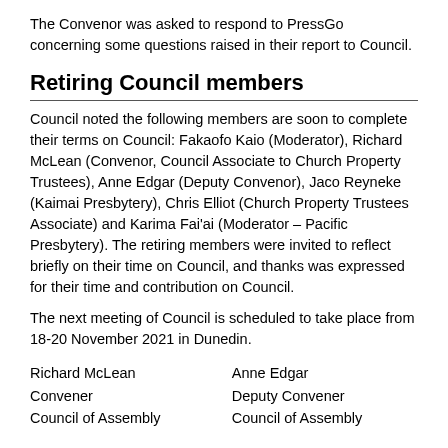The Convenor was asked to respond to PressGo concerning some questions raised in their report to Council.
Retiring Council members
Council noted the following members are soon to complete their terms on Council: Fakaofo Kaio (Moderator), Richard McLean (Convenor, Council Associate to Church Property Trustees), Anne Edgar (Deputy Convenor), Jaco Reyneke (Kaimai Presbytery), Chris Elliot (Church Property Trustees Associate) and Karima Fai'ai (Moderator – Pacific Presbytery). The retiring members were invited to reflect briefly on their time on Council, and thanks was expressed for their time and contribution on Council.
The next meeting of Council is scheduled to take place from 18-20 November 2021 in Dunedin.
Richard McLean
Convener
Council of Assembly
Anne Edgar
Deputy Convener
Council of Assembly